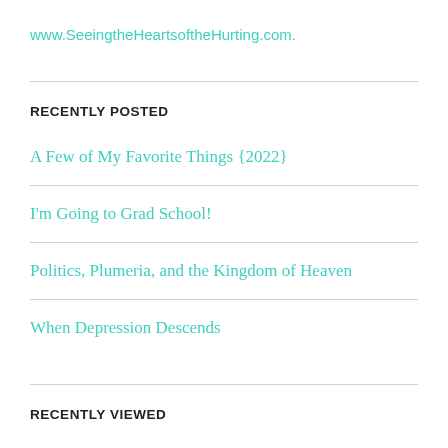www.SeeingtheHeartsoftheHurting.com.
RECENTLY POSTED
A Few of My Favorite Things {2022}
I'm Going to Grad School!
Politics, Plumeria, and the Kingdom of Heaven
When Depression Descends
RECENTLY VIEWED